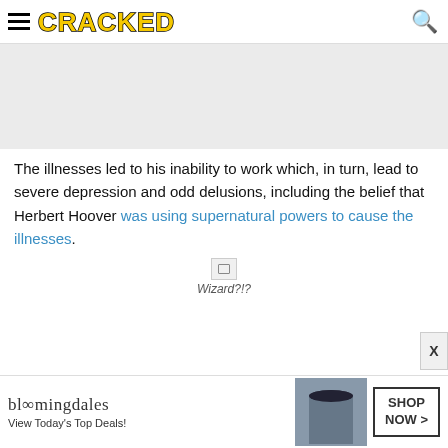CRACKED
[Figure (other): Gray placeholder/ad banner area at top of page]
The illnesses led to his inability to work which, in turn, lead to severe depression and odd delusions, including the belief that Herbert Hoover was using supernatural powers to cause the illnesses.
[Figure (other): Broken image placeholder]
Wizard?!?
[Figure (other): Bloomingdale's advertisement banner: View Today's Top Deals! SHOP NOW >]